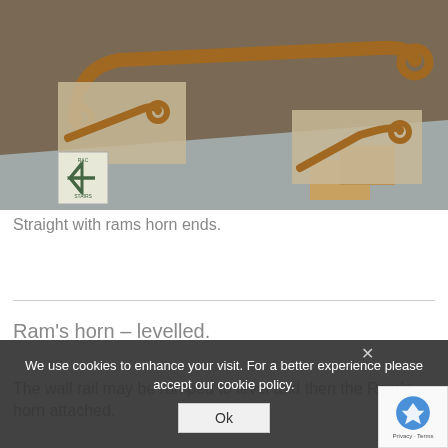[Figure (photo): A 3D render showing stair handrails with rams horn (scroll) ends. Two highlighted inset boxes show close-ups of the rams horn end detail on the left and right sides. A staircase direction sign is visible in the lower left.]
Straight with rams horn ends.
Ram's horn – levelled.
The wall rail may be ramped to level and then the Ram's horn attached.